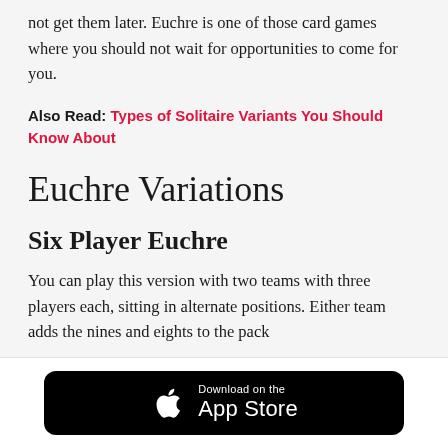not get them later. Euchre is one of those card games where you should not wait for opportunities to come for you.
Also Read: Types of Solitaire Variants You Should Know About
Euchre Variations
Six Player Euchre
You can play this version with two teams with three players each, sitting in alternate positions. Either team adds the nines and eights to the pack
[Figure (other): Download on the App Store button]